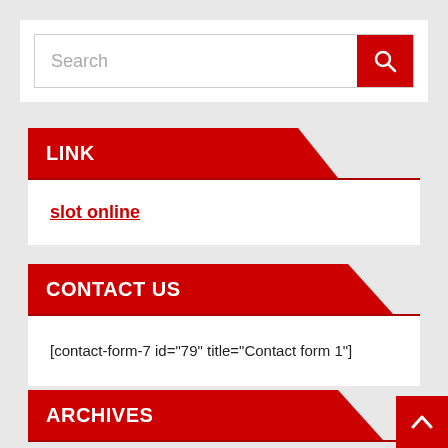[Figure (screenshot): Search bar with text input field showing placeholder 'Search' and a red search button with magnifying glass icon]
LINK
slot online
CONTACT US
[contact-form-7 id="79" title="Contact form 1"]
ARCHIVES